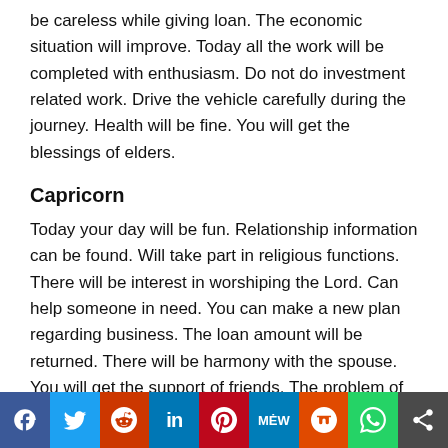be careless while giving loan. The economic situation will improve. Today all the work will be completed with enthusiasm. Do not do investment related work. Drive the vehicle carefully during the journey. Health will be fine. You will get the blessings of elders.
Capricorn
Today your day will be fun. Relationship information can be found. Will take part in religious functions. There will be interest in worshiping the Lord. Can help someone in need. You can make a new plan regarding business. The loan amount will be returned. There will be harmony with the spouse. You will get the support of friends. The problem of progeny will go away. Treatment may cost more.
Social share bar: Facebook, Twitter, Reddit, LinkedIn, Pinterest, MeWe, Mix, WhatsApp, Share